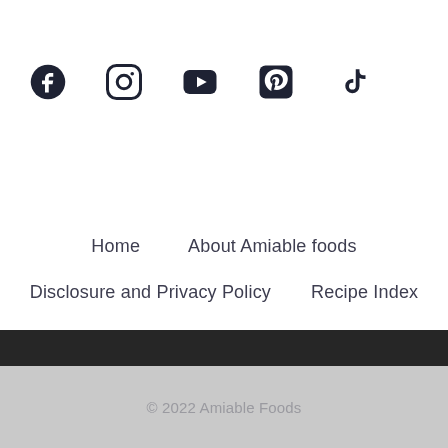[Figure (infographic): Row of five social media icons: Facebook, Instagram, YouTube, Pinterest, TikTok. Dark navy color on white background.]
Home
About Amiable foods
Disclosure and Privacy Policy
Recipe Index
© 2022 Amiable Foods